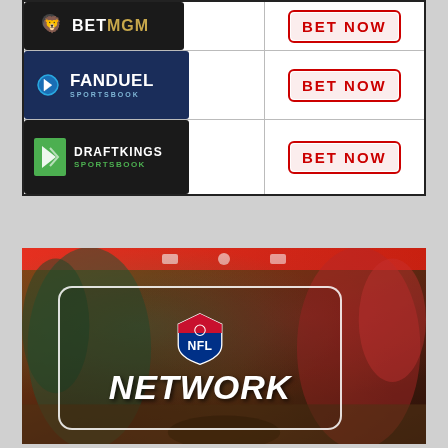[Figure (table-as-image): Table with three rows: BetMGM, FanDuel Sportsbook, and DraftKings Sportsbook logos each paired with a red 'BET NOW' button]
[Figure (screenshot): NFL Network promotional image showing football players at the line of scrimmage with NFL Network logo overlay in a rounded rectangle box on a dark background]